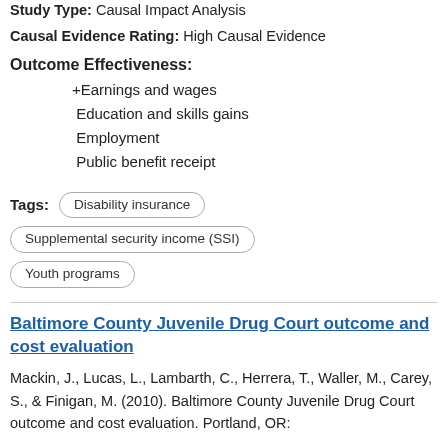Study Type: Causal Impact Analysis
Causal Evidence Rating: High Causal Evidence
Outcome Effectiveness:
Earnings and wages
Education and skills gains
Employment
Public benefit receipt
Tags: Disability insurance | Supplemental security income (SSI) | Youth programs
Baltimore County Juvenile Drug Court outcome and cost evaluation
Mackin, J., Lucas, L., Lambarth, C., Herrera, T., Waller, M., Carey, S., & Finigan, M. (2010). Baltimore County Juvenile Drug Court outcome and cost evaluation. Portland, OR: